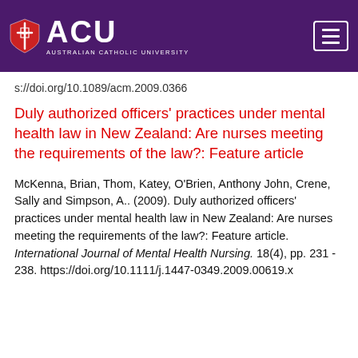[Figure (logo): ACU Australian Catholic University logo with shield icon on purple header bar with hamburger menu icon]
s://doi.org/10.1089/acm.2009.0366
Duly authorized officers' practices under mental health law in New Zealand: Are nurses meeting the requirements of the law?: Feature article
McKenna, Brian, Thom, Katey, O'Brien, Anthony John, Crene, Sally and Simpson, A.. (2009). Duly authorized officers' practices under mental health law in New Zealand: Are nurses meeting the requirements of the law?: Feature article. International Journal of Mental Health Nursing. 18(4), pp. 231 - 238. https://doi.org/10.1111/j.1447-0349.2009.00619.x